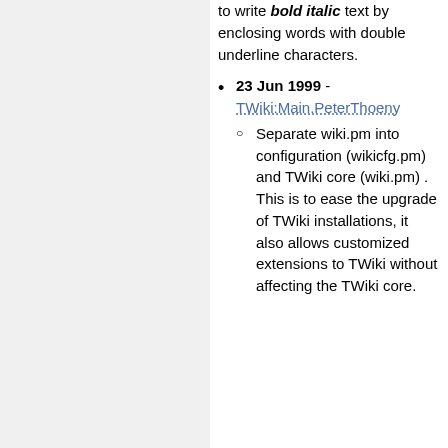to write bold italic text by enclosing words with double underline characters.
23 Jun 1999 - TWiki:Main.PeterThoeny
Separate wiki.pm into configuration (wikicfg.pm) and TWiki core (wiki.pm) . This is to ease the upgrade of TWiki installations, it also allows customized extensions to TWiki without affecting the TWiki core.